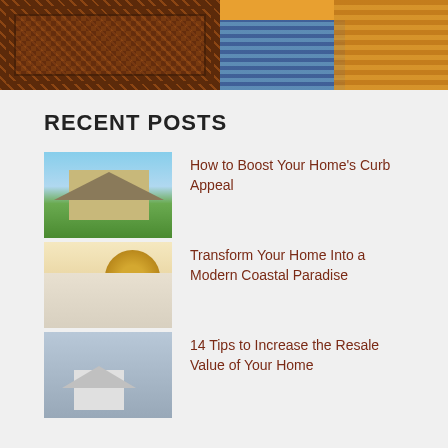[Figure (photo): Two images side by side: left is a decorative brown ornate carved pattern (rug/wood), right is a colorful abstract/mosaic image with blue and orange tones]
RECENT POSTS
[Figure (photo): Thumbnail of a house with blue sky and green landscaping]
How to Boost Your Home’s Curb Appeal
[Figure (photo): Thumbnail of a coastal bedroom with nautilus shell art and white bedding]
Transform Your Home Into a Modern Coastal Paradise
[Figure (photo): Thumbnail of a hand holding a small house model]
14 Tips to Increase the Resale Value of Your Home